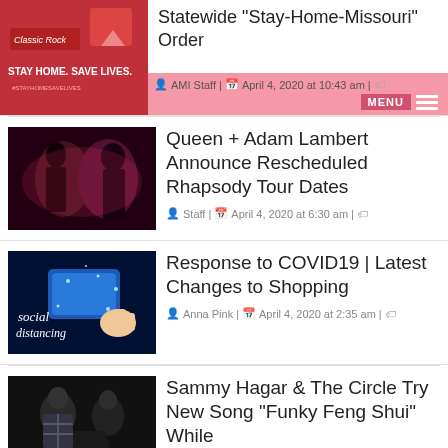[Figure (photo): Red banner image with 'Stay Home. Save Lives.' text and Missouri state logo]
Statewide "Stay-Home-Missouri" Order
AMI Staff | April 4, 2020 at 10:43 am |
[Figure (photo): Queen + Adam Lambert on stage in pink/red lighting]
Queen + Adam Lambert Announce Rescheduled Rhapsody Tour Dates
Staff | April 4, 2020 at 6:30 am |
[Figure (photo): Social distancing illustration with blue glowing card]
Response to COVID19 | Latest Changes to Shopping
Anna Pink | April 4, 2020 at 2:35 am |
[Figure (photo): Sammy Hagar & The Circle band photo]
Sammy Hagar & The Circle Try New Song "Funky Feng Shui" While